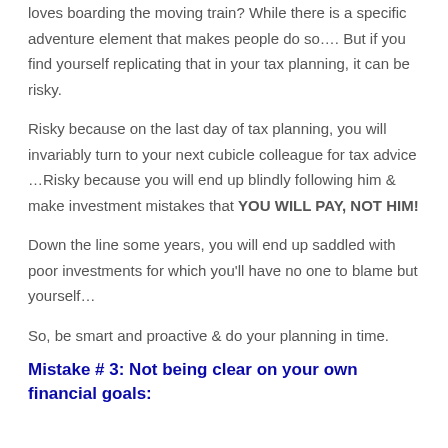loves boarding the moving train? While there is a specific adventure element that makes people do so…. But if you find yourself replicating that in your tax planning, it can be risky.
Risky because on the last day of tax planning, you will invariably turn to your next cubicle colleague for tax advice …Risky because you will end up blindly following him & make investment mistakes that YOU WILL PAY, NOT HIM!
Down the line some years, you will end up saddled with poor investments for which you'll have no one to blame but yourself…
So, be smart and proactive & do your planning in time.
Mistake # 3: Not being clear on your own financial goals: